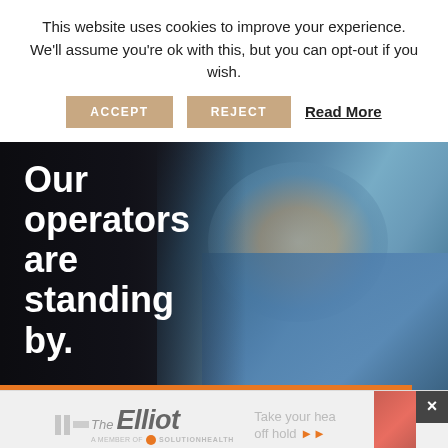This website uses cookies to improve your experience. We'll assume you're ok with this, but you can opt-out if you wish.
ACCEPT   REJECT   Read More
[Figure (photo): A healthcare worker (surgeon or medical professional) in blue scrubs, surgical cap, face mask, and protective eyewear. Overlaid white bold text reads: 'Our operators are standing by.' An orange horizontal bar appears at the bottom of the image.]
[Figure (other): Advertisement banner for The Elliot hospital, powered by SolutionHealth. Shows logo with italic styling and tagline 'Take your heart off hold' with an orange arrow. A red/orange box and close button (X) appear in the upper right.]